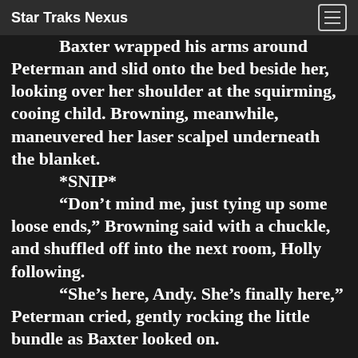Star Traks Nexus
Baxter wrapped his arms around Peterman and slid onto the bed beside her, looking over her shoulder at the squirming, cooing child. Browning, meanwhile, maneuvered her laser scalpel underneath the blanket.
*SNIP*
“Don’t mind me, just tying up some loose ends,” Browning said with a chuckle, and shuffled off into the next room, Holly following.
“She’s here, Andy. She’s finally here,” Peterman cried, gently rocking the little bundle as Baxter looked on.